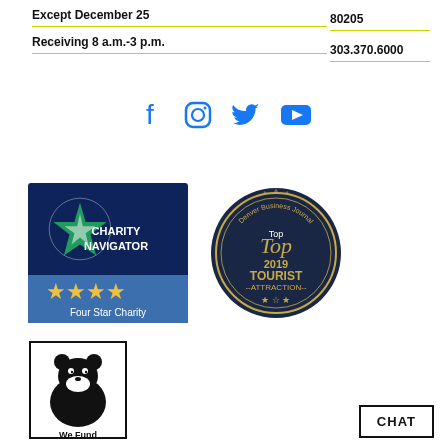Except December 25
Receiving 8 a.m.-3 p.m.
80205
303.370.6000
[Figure (infographic): Social media icons: Facebook, Instagram, Twitter, YouTube]
[Figure (logo): Charity Navigator Four Star Charity badge]
[Figure (logo): Denver Business Journal Top 2019 Tourist Attraction seal]
[Figure (logo): We Fund bear logo]
CHAT